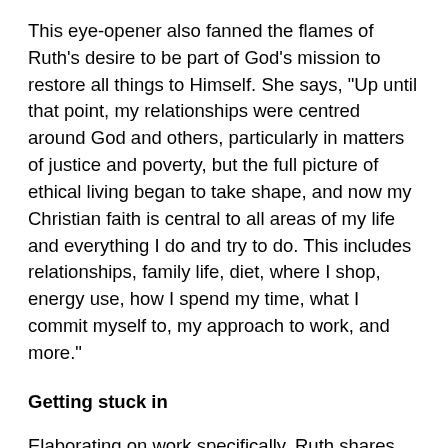This eye-opener also fanned the flames of Ruth's desire to be part of God's mission to restore all things to Himself. She says, "Up until that point, my relationships were centred around God and others, particularly in matters of justice and poverty, but the full picture of ethical living began to take shape, and now my Christian faith is central to all areas of my life and everything I do and try to do. This includes relationships, family life, diet, where I shop, energy use, how I spend my time, what I commit myself to, my approach to work, and more."
Getting stuck in
Elaborating on work specifically, Ruth shares that she has never taken a career approach to work, as she has always wanted to follow God's calling in her life and trust that He has put her in the right place to do that, whether the role is paid or unpaid. With an interest in environmental issues and hope to see the culture of the church change so that caring